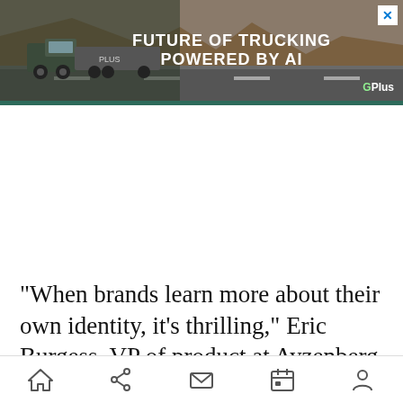[Figure (other): Advertisement banner for 'Future of Trucking Powered by AI' featuring a truck on a desert road with G Plus logo, with close (X) button in top right corner.]
“When brands learn more about their own identity, it’s thrilling,” Eric Burgess, VP of product at Ayzenberg Group, told me. “Capturing the perspectives of like-minded creators can open the
Home | Share | Mail | Calendar | Profile